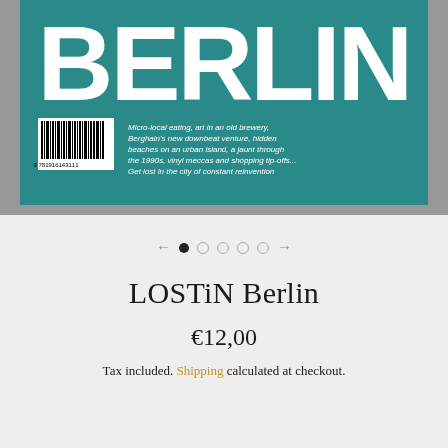[Figure (photo): Back cover of 'LOSTiN Berlin' book showing large white 'BERLIN' text on teal background, with a barcode on the left and descriptive text on the right reading about micro-local eating, art in an old brewery, Berghain's new downbeat venture, hidden beaches on an urban island, a jaunt through the 1990s, vinyl meccas and shopping tip-offs. Get lost in the city of constant reinvention.]
[Figure (infographic): Carousel navigation: left arrow, filled circle (active), four empty circles, right arrow]
LOSTiN Berlin
€12,00
Tax included. Shipping calculated at checkout.